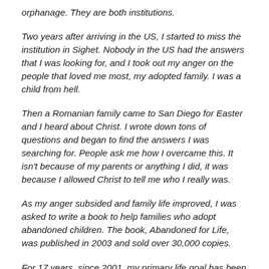orphanage. They are both institutions.
Two years after arriving in the US, I started to miss the institution in Sighet. Nobody in the US had the answers that I was looking for, and I took out my anger on the people that loved me most, my adopted family. I was a child from hell.
Then a Romanian family came to San Diego for Easter and I heard about Christ. I wrote down tons of questions and began to find the answers I was searching for. People ask me how I overcame this. It isn't because of my parents or anything I did, it was because I allowed Christ to tell me who I really was.
As my anger subsided and family life improved, I was asked to write a book to help families who adopt abandoned children. The book, Abandoned for Life, was published in 2003 and sold over 30,000 copies.
For 17 years, since 2001, my primary life goal has been to tell